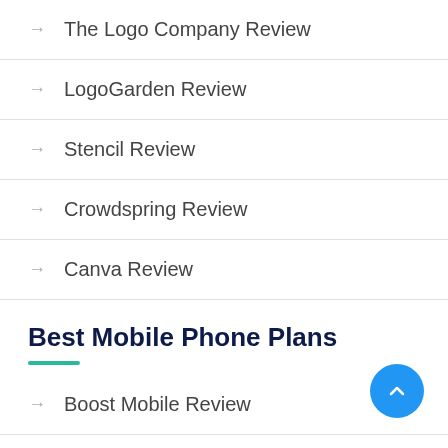The Logo Company Review
LogoGarden Review
Stencil Review
Crowdspring Review
Canva Review
Best Mobile Phone Plans
Boost Mobile Review